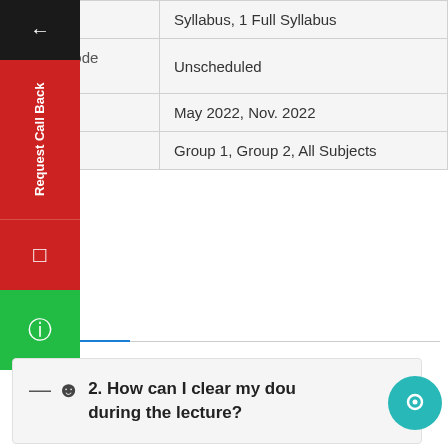|  | Syllabus, 1 Full Syllabus |
| Select Mode of Test | Unscheduled |
| Attempt | May 2022, Nov. 2022 |
| bjects | Group 1, Group 2, All Subjects |
[Figure (screenshot): Sidebar UI overlay with back arrow, Request Call Back button (red), form icon, and WhatsApp icon (green)]
2. How can I clear my doubts during the lecture?